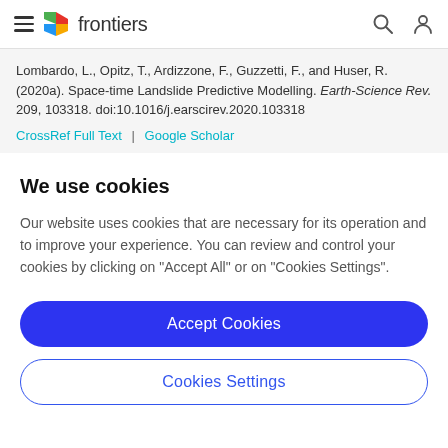frontiers
Lombardo, L., Opitz, T., Ardizzone, F., Guzzetti, F., and Huser, R. (2020a). Space-time Landslide Predictive Modelling. Earth-Science Rev. 209, 103318. doi:10.1016/j.earscirev.2020.103318
CrossRef Full Text | Google Scholar
We use cookies
Our website uses cookies that are necessary for its operation and to improve your experience. You can review and control your cookies by clicking on "Accept All" or on "Cookies Settings".
Accept Cookies
Cookies Settings